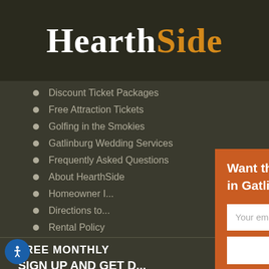HearthSide
Discount Ticket Packages
Free Attraction Tickets
Golfing in the Smokies
Gatlinburg Wedding Services
Frequently Asked Questions
About HearthSide
Homeowner P...
Directions to...
Rental Policy
FREE MONTHLY
SIGN UP AND GET D...
mail Address
[Figure (screenshot): Popup modal with orange background asking 'Want the latest info on area events and fun things to do in Gatlinburg and Pigeon Forge?' with an email input field and 'Send to me!' button]